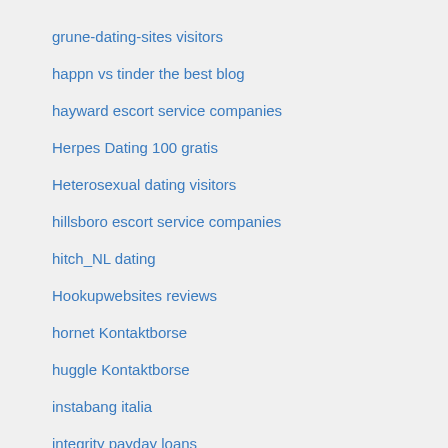grune-dating-sites visitors
happn vs tinder the best blog
hayward escort service companies
Herpes Dating 100 gratis
Heterosexual dating visitors
hillsboro escort service companies
hitch_NL dating
Hookupwebsites reviews
hornet Kontaktborse
huggle Kontaktborse
instabang italia
integrity payday loans
jasonebin.com#skachat-1xbet#
Jewish Dating simple
jurupa valley escort